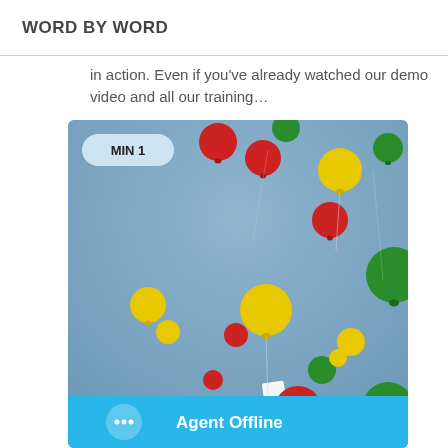WORD BY WORD
in action. Even if you've already watched our demo video and all our training...
[Figure (photo): Photo of colorful red, yellow, and green balloons floating against a blue sky, with a 'MIN 1' badge overlay in the upper left and an 'Agent Offline' chat widget bar at the bottom.]